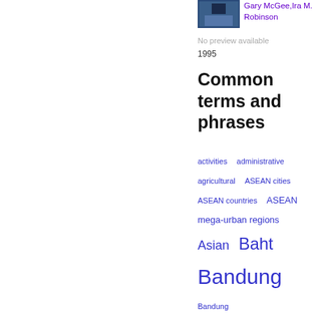[Figure (photo): Small book thumbnail image, dark blue]
Gary McGee,Ira M. Robinson
No preview available
1995
Common terms and phrases
activities  administrative  agricultural  ASEAN cities  ASEAN countries  ASEAN mega-urban regions  Asian  Baht  Bandung  Bandung Metropolitan Area  Bangkok Metropolitan Region  Batam  Bekasi  benefits  Bogor  Calabarzon  capital  cent  central  centres